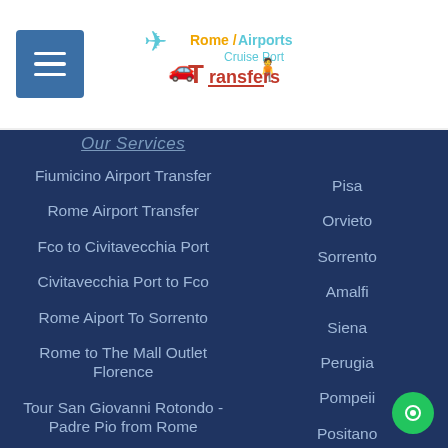[Figure (logo): Rome / Airports Cruise Port Transfers logo with airplane, car and person icon]
Our Services (truncated)
Fiumicino Airport Transfer
Pisa
Rome Airport Transfer
Orvieto
Fco to Civitavecchia Port
Sorrento
Civitavecchia Port to Fco
Amalfi
Rome Aiport To Sorrento
Siena
Rome to The Mall Outlet Florence
Perugia
Tour San Giovanni Rotondo - Padre Pio from Rome
Pompeii
Positano
Private Full Day Rome Tour From Civitavecchia Port
Naples
Montepulciano
Matera (partially visible)